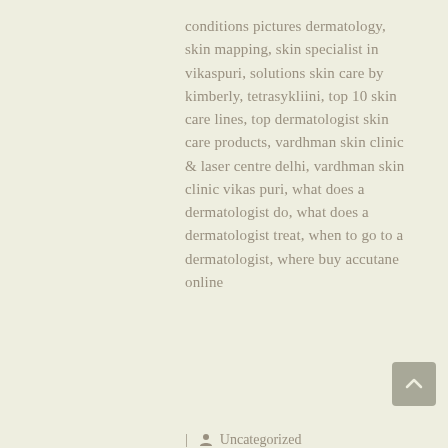conditions pictures dermatology, skin mapping, skin specialist in vikaspuri, solutions skin care by kimberly, tetrasykliini, top 10 skin care lines, top dermatologist skin care products, vardhman skin clinic & laser centre delhi, vardhman skin clinic vikas puri, what does a dermatologist do, what does a dermatologist treat, when to go to a dermatologist, where buy accutane online
| Uncategorized